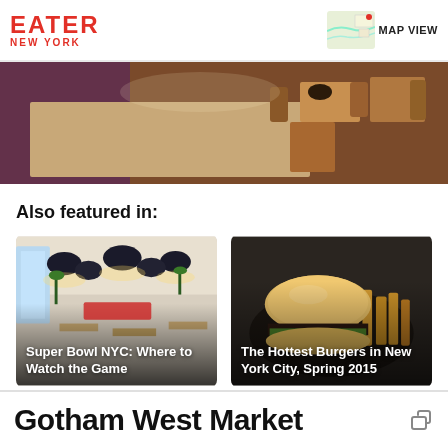EATER NEW YORK
[Figure (photo): Interior of a restaurant with ornate patterned floor, wooden chairs and tables, purple/blue ambient lighting on the left side]
Also featured in:
[Figure (photo): Restaurant interior with industrial pendant lights hanging from ceiling over rows of wooden tables, greenery along walls]
Super Bowl NYC: Where to Watch the Game
[Figure (photo): A burger on a bun with fries on a dark plate]
The Hottest Burgers in New York City, Spring 2015
Gotham West Market